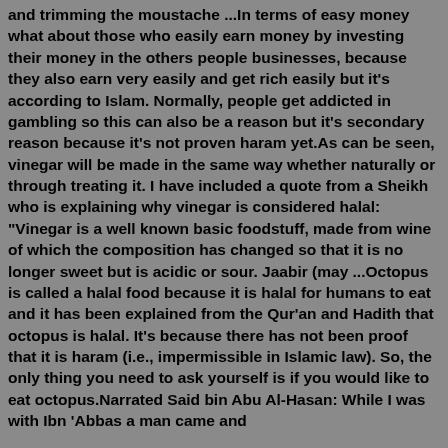and trimming the moustache ...In terms of easy money what about those who easily earn money by investing their money in the others people businesses, because they also earn very easily and get rich easily but it's according to Islam. Normally, people get addicted in gambling so this can also be a reason but it's secondary reason because it's not proven haram yet.As can be seen, vinegar will be made in the same way whether naturally or through treating it. I have included a quote from a Sheikh who is explaining why vinegar is considered halal: "Vinegar is a well known basic foodstuff, made from wine of which the composition has changed so that it is no longer sweet but is acidic or sour. Jaabir (may ...Octopus is called a halal food because it is halal for humans to eat and it has been explained from the Qur'an and Hadith that octopus is halal. It's because there has not been proof that it is haram (i.e., impermissible in Islamic law). So, the only thing you need to ask yourself is if you would like to eat octopus.Narrated Said bin Abu Al-Hasan: While I was with Ibn 'Abbas a man came and